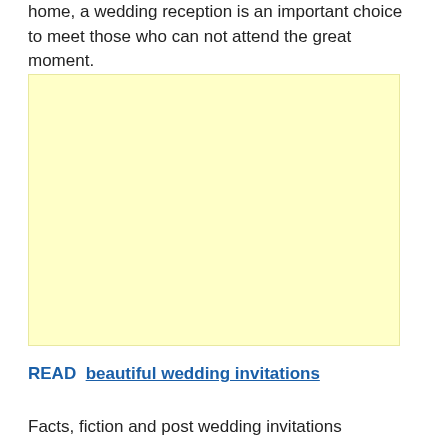home, a wedding reception is an important choice to meet those who can not attend the great moment.
[Figure (other): Yellow/cream colored advertisement placeholder block]
READ  beautiful wedding invitations
Facts, fiction and post wedding invitations